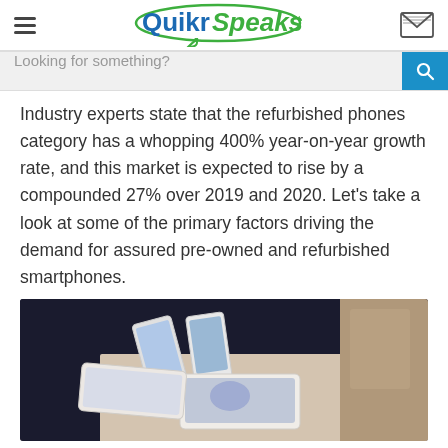QuikrSpeaks
Looking for something?
Industry experts state that the refurbished phones category has a whopping 400% year-on-year growth rate, and this market is expected to rise by a compounded 27% over 2019 and 2020. Let’s take a look at some of the primary factors driving the demand for assured pre-owned and refurbished smartphones.
[Figure (photo): Photo of multiple smartphones laid on a table, viewed from above at an angle, showing various phone screens including some with blue/purple displays]